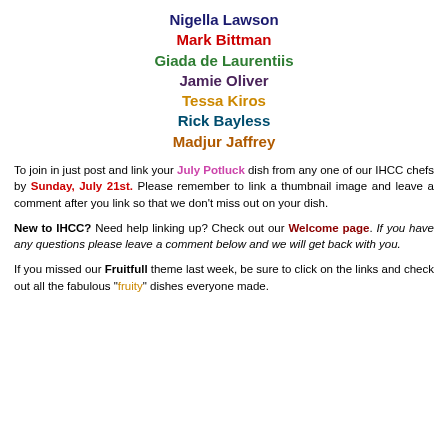Nigella Lawson
Mark Bittman
Giada de Laurentiis
Jamie Oliver
Tessa Kiros
Rick Bayless
Madjur Jaffrey
To join in just post and link your July Potluck dish from any one of our IHCC chefs by Sunday, July 21st. Please remember to link a thumbnail image and leave a comment after you link so that we don't miss out on your dish.
New to IHCC? Need help linking up? Check out our Welcome page. If you have any questions please leave a comment below and we will get back with you.
If you missed our Fruitfull theme last week, be sure to click on the links and check out all the fabulous "fruity" dishes everyone made.